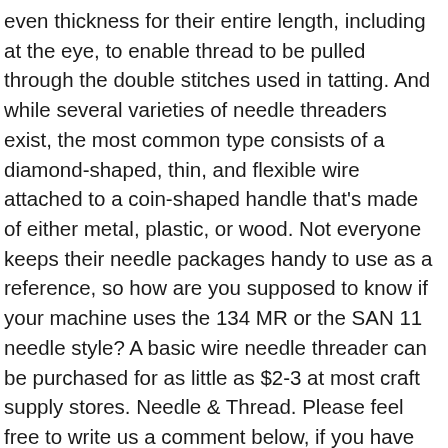even thickness for their entire length, including at the eye, to enable thread to be pulled through the double stitches used in tatting. And while several varieties of needle threaders exist, the most common type consists of a diamond-shaped, thin, and flexible wire attached to a coin-shaped handle that's made of either metal, plastic, or wood. Not everyone keeps their needle packages handy to use as a reference, so how are you supposed to know if your machine uses the 134 MR or the SAN 11 needle style? A basic wire needle threader can be purchased for as little as $2-3 at most craft supply stores. Needle & Thread. Please feel free to write us a comment below, if you have any suggestion to us. You may need to push the threader gently to force it through the eye of a smaller-sized needle. Be careful not to let the needle slip back off the thread. wikiHow is where trusted research and expert knowledge come together. Step 4: Getting hold of the body of the metal needle threader, take out the wire back through the eye of the needle. If you really can't stand to see another ad again, then please consider supporting